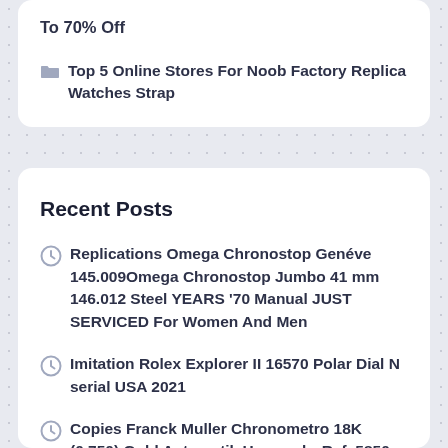To 70% Off
Top 5 Online Stores For Noob Factory Replica Watches Strap
Recent Posts
Replications Omega Chronostop Genéve 145.009Omega Chronostop Jumbo 41 mm 146.012 Steel YEARS '70 Manual JUST SERVICED For Women And Men
Imitation Rolex Explorer II 16570 Polar Dial N serial USA 2021
Copies Franck Muller Chronometro 18K (0,750) Gold Automatik Herrenuhr Ref. 5850 Perpetual Calendar